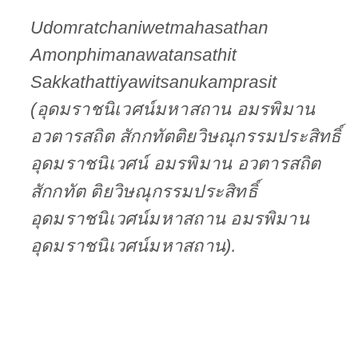Udomratchaniwetmahasathan Amonphimanawatansathit Sakkathattiyawitsanukamprasit (Thai script text).